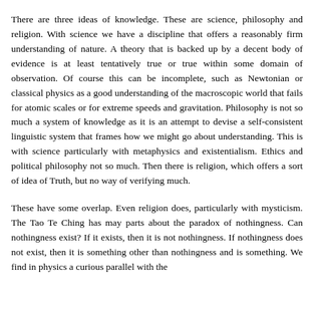There are three ideas of knowledge. These are science, philosophy and religion. With science we have a discipline that offers a reasonably firm understanding of nature. A theory that is backed up by a decent body of evidence is at least tentatively true or true within some domain of observation. Of course this can be incomplete, such as Newtonian or classical physics as a good understanding of the macroscopic world that fails for atomic scales or for extreme speeds and gravitation. Philosophy is not so much a system of knowledge as it is an attempt to devise a self-consistent linguistic system that frames how we might go about understanding. This is with science particularly with metaphysics and existentialism. Ethics and political philosophy not so much. Then there is religion, which offers a sort of idea of Truth, but no way of verifying much.
These have some overlap. Even religion does, particularly with mysticism. The Tao Te Ching has may parts about the paradox of nothingness. Can nothingness exist? If it exists, then it is not nothingness. If nothingness does not exist, then it is something other than nothingness and is something. We find in physics a curious parallel with the